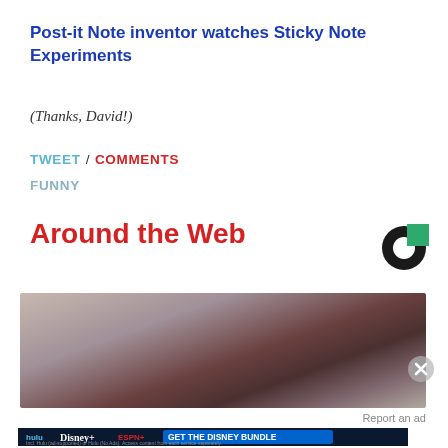Post-it Note inventor watches Sticky Note Experiments
(Thanks, David!)
TWEET / COMMENTS
FUNNY
Around the Web
[Figure (logo): Circular logo with black donut shape and green square segment]
[Figure (photo): Close-up blurry photo of fingers holding a small dark round object]
Report an ad
[Figure (screenshot): Disney Bundle advertisement banner with Hulu, Disney+, ESPN+ logos and text GET THE DISNEY BUNDLE]